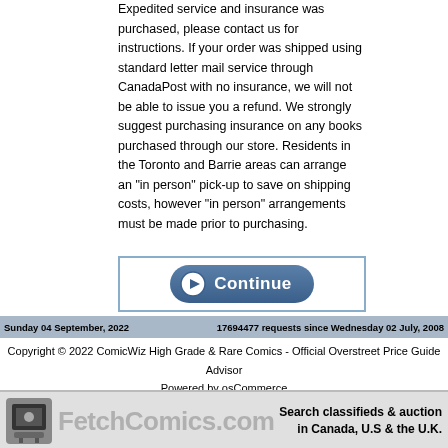Expedited service and insurance was purchased, please contact us for instructions. If your order was shipped using standard letter mail service through CanadaPost with no insurance, we will not be able to issue you a refund. We strongly suggest purchasing insurance on any books purchased through our store. Residents in the Toronto and Barrie areas can arrange an "in person" pick-up to save on shipping costs, however "in person" arrangements must be made prior to purchasing.
[Figure (screenshot): Blue Continue button with play icon]
Sunday 04 September, 2022    17694477 requests since Wednesday 02 July, 2008
Copyright © 2022 ComicWiz High Grade & Rare Comics - Official Overstreet Price Guide Advisor
Powered by osCommerce
[Figure (logo): FetchComics.com banner with robot icon and tagline: Search classifieds & auction in Canada, U.S & the U.K.]